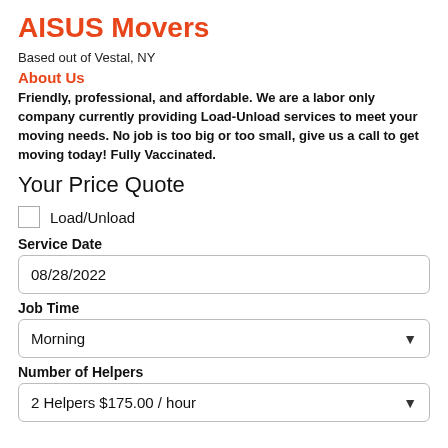AISUS Movers
Based out of Vestal, NY
About Us
Friendly, professional, and affordable. We are a labor only company currently providing Load-Unload services to meet your moving needs. No job is too big or too small, give us a call to get moving today! Fully Vaccinated.
Your Price Quote
Load/Unload
Service Date
08/28/2022
Job Time
Morning
Number of Helpers
2 Helpers $175.00 / hour